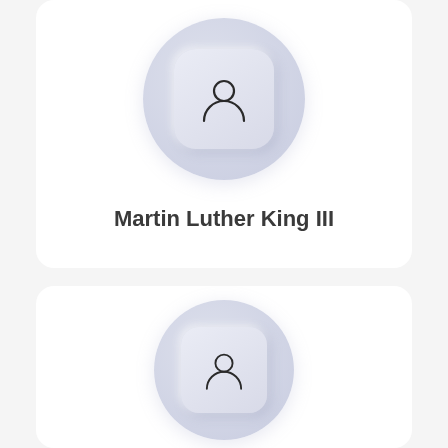[Figure (illustration): User profile avatar icon inside a rounded square on a circular background — top card]
Martin Luther King III
[Figure (illustration): User profile avatar icon inside a rounded square on a circular background — bottom card]